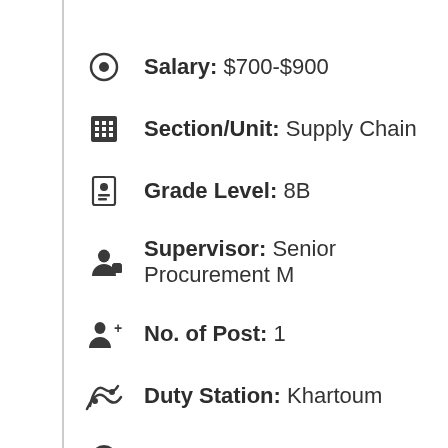Salary: $700-$900
Section/Unit: Supply Chain
Grade Level: 8B
Supervisor: Senior Procurement M…
No. of Post: 1
Duty Station: Khartoum
Duration: 12 Months
Closing Date: 25 July 2022